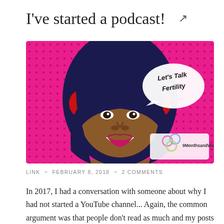I've started a podcast! 🔗
[Figure (illustration): Pop-art style illustration of a Black woman with dark blue hair wearing red headphones, smiling, on a bright pink halftone dot background. A speech bubble reads 'Let's Talk Fertility'. A logo in the bottom right corner reads '9MonthsandWaiting'.]
LINK ~ FEBRUARY 8, 2018 ~ 2 COMMENTS
In 2017, I had a conversation with someone about why I had not started a YouTube channel... Again, the common argument was that people don't read as much and my posts can sometimes be too long... For those who know me, I'm sure you could picture